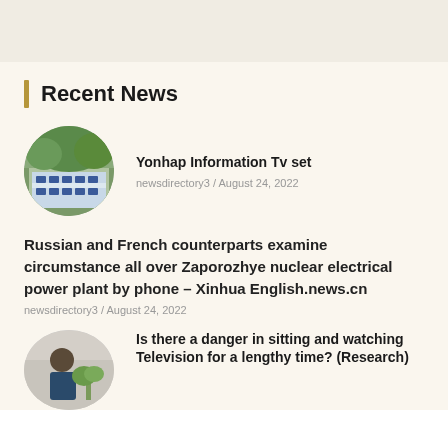Recent News
Yonhap Information Tv set
newsdirectory3 / August 24, 2022
Russian and French counterparts examine circumstance all over Zaporozhye nuclear electrical power plant by phone – Xinhua English.news.cn
newsdirectory3 / August 24, 2022
Is there a danger in sitting and watching Television for a lengthy time? (Research)